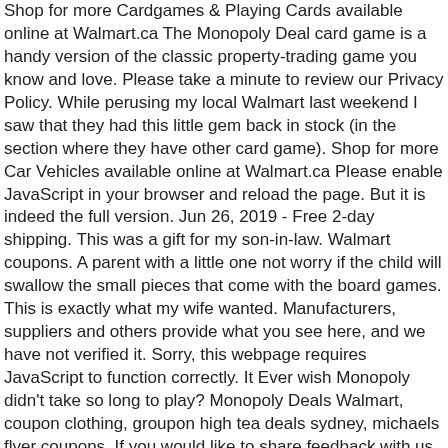Shop for more Cardgames & Playing Cards available online at Walmart.ca The Monopoly Deal card game is a handy version of the classic property-trading game you know and love. Please take a minute to review our Privacy Policy. While perusing my local Walmart last weekend I saw that they had this little gem back in stock (in the section where they have other card game). Shop for more Car Vehicles available online at Walmart.ca Please enable JavaScript in your browser and reload the page. But it is indeed the full version. Jun 26, 2019 - Free 2-day shipping. This was a gift for my son-in-law. Walmart coupons. A parent with a little one not worry if the child will swallow the small pieces that come with the board games. This is exactly what my wife wanted. Manufacturers, suppliers and others provide what you see here, and we have not verified it. Sorry, this webpage requires JavaScript to function correctly. It Ever wish Monopoly didn't take so long to play? Monopoly Deals Walmart, coupon clothing, groupon high tea deals sydney, michaels flyer coupons. If you would like to share feedback with us about pricing, delivery or other customer service issues, please contact, Electrode, Comp-8a530e9d-848b-4271-885a-f81a9bab2f5f, DC-wus-prod-a14, ENV-prod-a, PROF-PROD, VER-20.0.40, SHA-41ed846882608577050 3056bd2c9bc8be5b55386, CID-5574b5e5-007-1771a9ecf17173, Generated: Tue, 19 Jan 2021 12:29:11 GMT, Electrode, Comp-fc800123-4c2d-43c8-9d35-17a46b0a5580, DC-wus-prod-a3, ENV-prod-